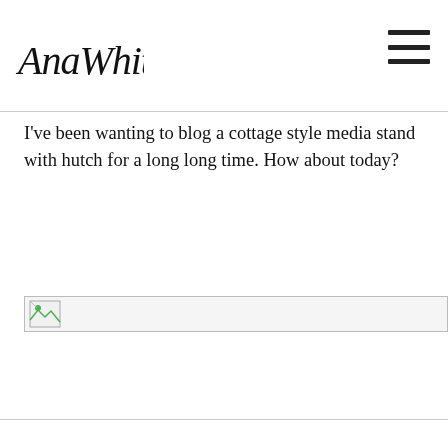AnaWhite
I've been wanting to blog a cottage style media stand with hutch for a long long time. How about today?
[Figure (photo): Broken/missing image placeholder for a cottage style media stand with hutch]